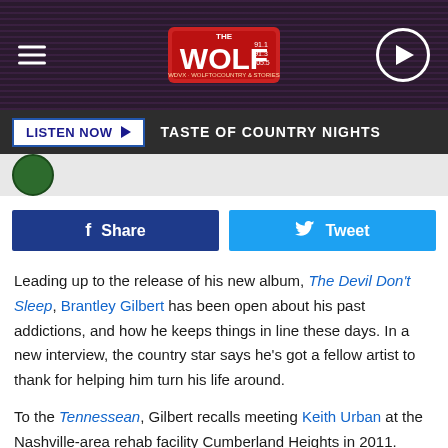[Figure (screenshot): The Wolf radio station header bar with hamburger menu, Wolf radio logo (91.1, 91.3, 105.5), and circular play button on dark purple/maroon background]
LISTEN NOW ▶  TASTE OF COUNTRY NIGHTS
[Figure (screenshot): Circular green thumbnail image]
f Share
Tweet
Leading up to the release of his new album, The Devil Don't Sleep, Brantley Gilbert has been open about his past addictions, and how he keeps things in line these days. In a new interview, the country star says he's got a fellow artist to thank for helping him turn his life around.
To the Tennessean, Gilbert recalls meeting Keith Urban at the Nashville-area rehab facility Cumberland Heights in 2011. Gilbert had entered the center after being hospitalized for pancreatitis was itching to leave the facility